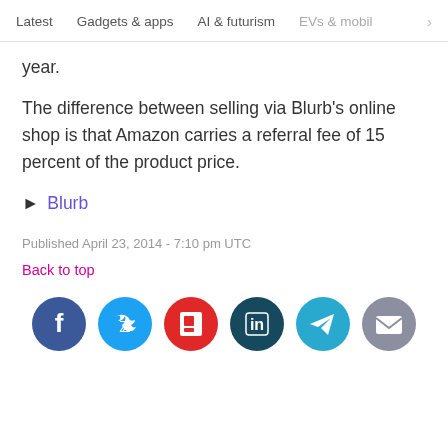Latest   Gadgets & apps   AI & futurism   EVs & mobil >
year.
The difference between selling via Blurb's online shop is that Amazon carries a referral fee of 15 percent of the product price.
► Blurb
Published April 23, 2014 - 7:10 pm UTC
Back to top
[Figure (infographic): Row of 6 social media share icons: Facebook (dark blue), Twitter (light blue), Flipboard (red), LinkedIn (dark teal), Telegram (teal), Email (grey)]